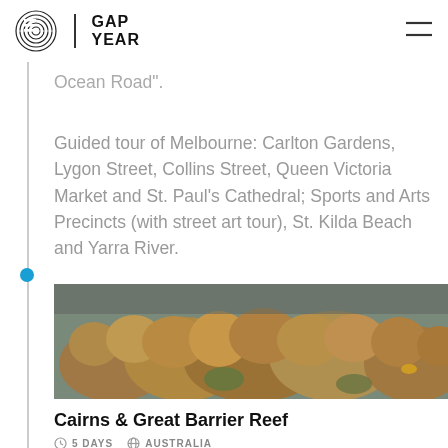EF / GAP YEAR
Ocean Road".
Guided tour of Melbourne: Carlton Gardens, Lygon Street, Collins Street, Queen Victoria Market and St. Paul's Cathedral; Sports and Arts Precincts (with street art tour), St. Kilda Beach and Yarra River.
[Figure (photo): Underwater photo of coral reef formations, brownish-orange coral, Great Barrier Reef]
Cairns & Great Barrier Reef
5 DAYS   AUSTRALIA
Flight to Cairns; snorkling on the Great Barrier Reef;